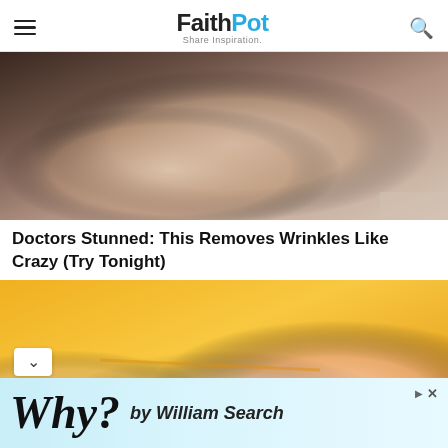FaithPot - Share Inspiration
[Figure (photo): Close-up of a woman touching her neck/chin area with her hand, dark hair visible, skin-tone background]
Doctors Stunned: This Removes Wrinkles Like Crazy (Try Tonight)
[Figure (photo): Close-up of a hand with aged/textured skin held against a yellow/orange background, another hand touching it]
Why? by William Search